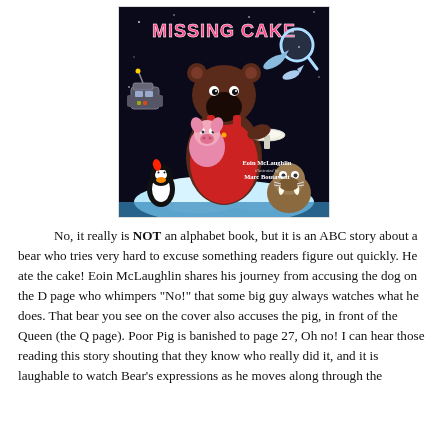[Figure (illustration): Book cover of 'Missing Cake' by Eoin McLaughlin, illustrated by Marc Boutavant. Shows a large brown bear in red overalls standing on an ice floe holding an empty plate, with a pink pig, a penguin, and a walrus nearby. Dark space background with fish and a magnifying glass.]
No, it really is NOT an alphabet book, but it is an ABC story about a bear who tries very hard to excuse something readers figure out quickly. He ate the cake! Eoin McLaughlin shares his journey from accusing the dog on the D page who whimpers "No!" that some big guy always watches what he does. That bear you see on the cover also accuses the pig, in front of the Queen (the Q page). Poor Pig is banished to page 27, Oh no! I can hear those reading this story shouting that they know who really did it, and it is laughable to watch Bear's expressions as he moves along through the